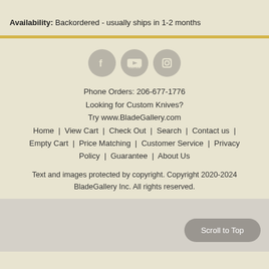Availability: Backordered - usually ships in 1-2 months
[Figure (illustration): Row of three social media icons: Facebook, YouTube, Instagram — gray circular buttons]
Phone Orders: 206-677-1776
Looking for Custom Knives?
Try www.BladeGallery.com
Home | View Cart | Check Out | Search | Contact us | Empty Cart | Price Matching | Customer Service | Privacy Policy | Guarantee | About Us
Text and images protected by copyright. Copyright 2020-2024 BladeGallery Inc. All rights reserved.
Scroll to Top